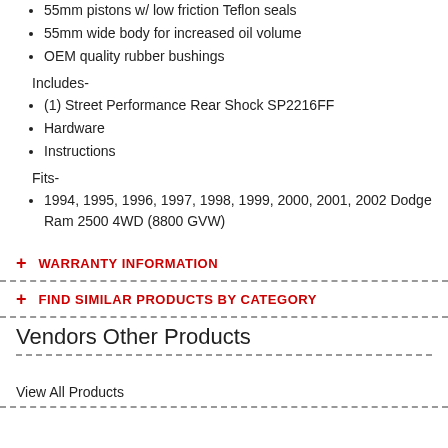55mm pistons w/ low friction Teflon seals
55mm wide body for increased oil volume
OEM quality rubber bushings
Includes-
(1) Street Performance Rear Shock SP2216FF
Hardware
Instructions
Fits-
1994, 1995, 1996, 1997, 1998, 1999, 2000, 2001, 2002 Dodge Ram 2500 4WD (8800 GVW)
+ WARRANTY INFORMATION
+ FIND SIMILAR PRODUCTS BY CATEGORY
Vendors Other Products
View All Products